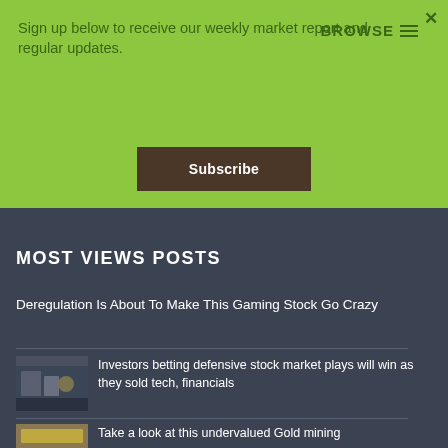Sign up below to receive our weekly market report and regular updates.
Subscribe
MOST VIEWS POSTS
Deregulation Is About To Make This Gaming Stock Go Crazy
Investors betting defensive stock market plays will win as they sold tech, financials
Take a look at this undervalued Gold mining